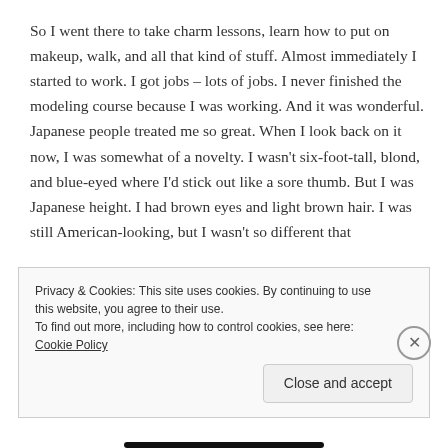So I went there to take charm lessons, learn how to put on makeup, walk, and all that kind of stuff. Almost immediately I started to work. I got jobs – lots of jobs. I never finished the modeling course because I was working. And it was wonderful. Japanese people treated me so great. When I look back on it now, I was somewhat of a novelty. I wasn't six-foot-tall, blond, and blue-eyed where I'd stick out like a sore thumb. But I was Japanese height. I had brown eyes and light brown hair. I was still American-looking, but I wasn't so different that
Privacy & Cookies: This site uses cookies. By continuing to use this website, you agree to their use.
To find out more, including how to control cookies, see here: Cookie Policy
Close and accept